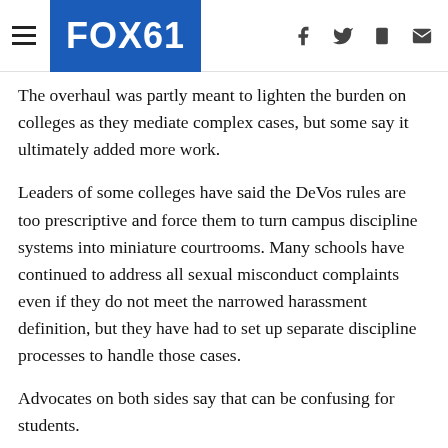FOX61
The overhaul was partly meant to lighten the burden on colleges as they mediate complex cases, but some say it ultimately added more work.
Leaders of some colleges have said the DeVos rules are too prescriptive and force them to turn campus discipline systems into miniature courtrooms. Many schools have continued to address all sexual misconduct complaints even if they do not meet the narrowed harassment definition, but they have had to set up separate discipline processes to handle those cases.
Advocates on both sides say that can be confusing for students.
“It shouldn’t be that way. It should be, if anything, more uniform — that’s the whole reason the Title IX regulations were put into place,” said Kimberly Lau, a New York lawyer who represents students in Title IX cases